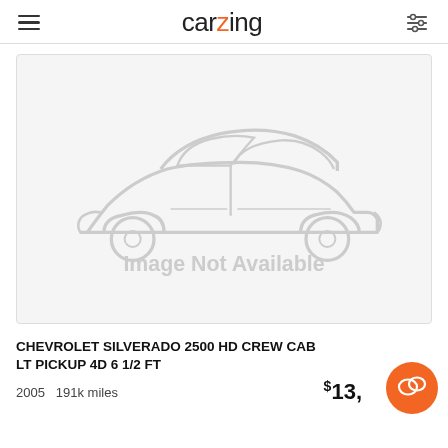carzing
[Figure (illustration): Car silhouette placeholder image with text 'Image Not Available']
CHEVROLET SILVERADO 2500 HD CREW CAB LT PICKUP 4D 6 1/2 FT
2005  191k miles  $13,